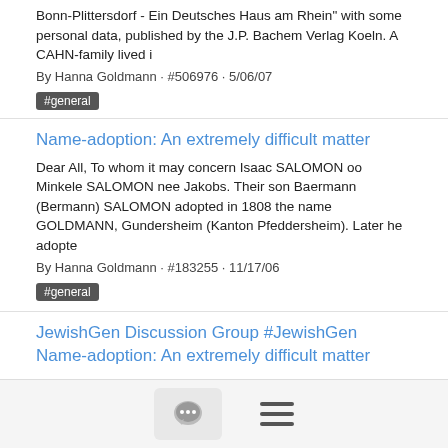Bonn-Plittersdorf - Ein Deutsches Haus am Rhein" with some personal data, published by the J.P. Bachem Verlag Koeln. A CAHN-family lived i
By Hanna Goldmann · #506976 · 5/06/07
#general
Name-adoption: An extremely difficult matter
Dear All, To whom it may concern Isaac SALOMON oo Minkele SALOMON nee Jakobs. Their son Baermann (Bermann) SALOMON adopted in 1808 the name GOLDMANN, Gundersheim (Kanton Pfeddersheim). Later he adopte
By Hanna Goldmann · #183255 · 11/17/06
#general
JewishGen Discussion Group #JewishGen Name-adoption: An extremely difficult matter
Dear All, To whom it may concern Isaac SALOMON oo Minkele SALOMON nee Jakobs. Their son Baermann (Bermann) SALOMON adopted in 1808 the name GOLDMANN,
[Figure (screenshot): Bottom navigation bar with a chat/comment icon button and a hamburger menu icon]